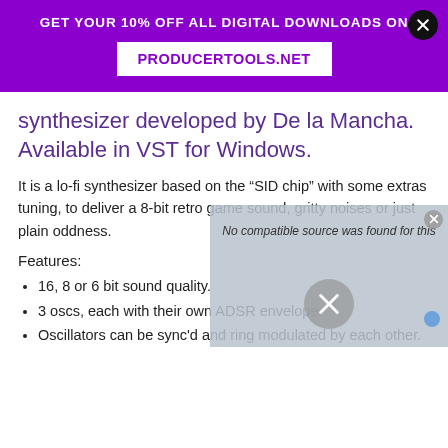GET YOUR 10% OFF ALL DIGITAL DOWNLOADS ON PRODUCERTOOLS.NET
synthesizer developed by De la Mancha. Available in VST for Windows.
It is a lo-fi synthesizer based on the “SID chip” with some extras tuning, to deliver a 8-bit retro game sound, gritty noises or just plain oddness.
Features:
16, 8 or 6 bit sound quality.
3 oscs, each with their own ADSR envelope.
Oscillators can be sync'd and ring modulated by each other.
[Figure (screenshot): Video player overlay with gray background, 'No compatible source was found for this' message, a large circular X close button, and a small blue dot in the corner.]